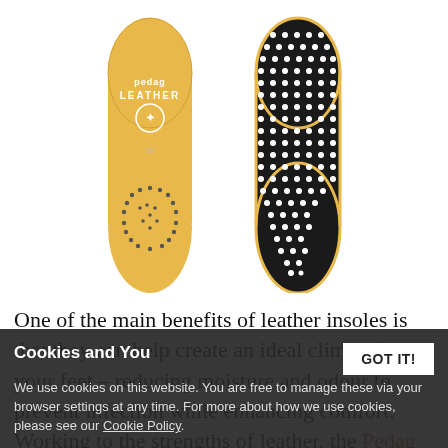[Figure (photo): Two Pedag leather insoles shown side by side. Left insole shows the tan/golden leather top surface with 'pedag LEATHER' text and a logo, plus dotted oval perforation pattern at heel. Right insole shows the black anti-slip studded bottom surface with a tan leather edge border.]
One of the main benefits of leather insoles is that they can help create an ideal climate for your feet – reducing moisture and odour to prevent infection while enhancing comfort. Working to the strengths of leather, the Pedag Leather Full Insoles do just that, in helping prevent foot odour and...
Cookies and You
We use cookies on this website. You are free to manage these via your browser settings at any time. For more about how we use cookies, please see our Cookie Policy.
GOT IT!